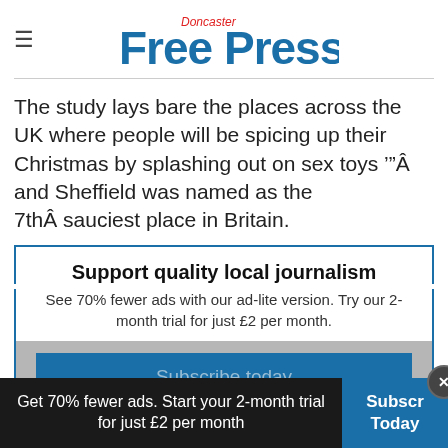Doncaster Free Press
The study lays bare the places across the UK where people will be spicing up their Christmas by splashing out on sex toys '"Â and Sheffield was named as the 7thÂ sauciest place in Britain.
Support quality local journalism
See 70% fewer ads with our ad-lite version. Try our 2-month trial for just £2 per month.
Subscribe today
Get 70% fewer ads. Start your 2-month trial for just £2 per month   Subscr Today  ×